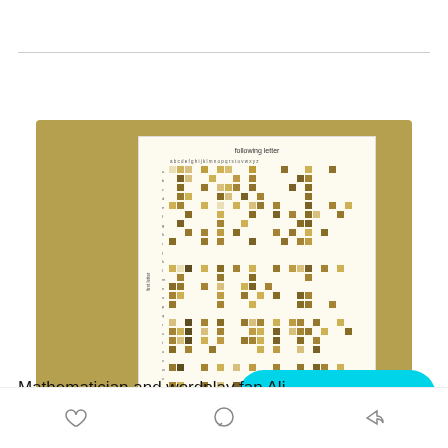[Figure (other): Screenshot of a social media post containing a heatmap chart titled 'following letter' showing letter pair frequency in Wordle, displayed on a tan/gold background. A cyan 'Subscribe' button overlaps the bottom right of the image.]
Mathematician and wordplay fan Ali ... thoughts on hit internet word game Wordle.
[Figure (other): Bottom navigation bar with heart (like), comment bubble, and share arrow icons]